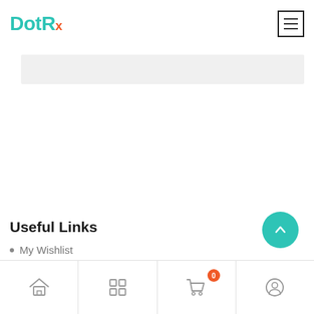DotRx
Useful Links
My Wishlist